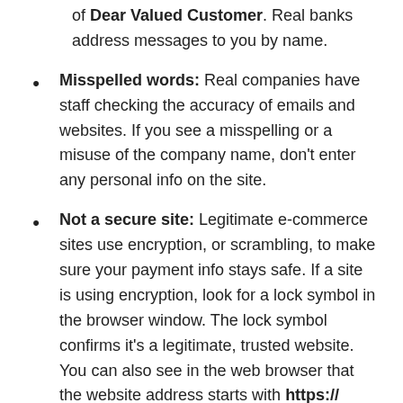of Dear Valued Customer. Real banks address messages to you by name.
Misspelled words: Real companies have staff checking the accuracy of emails and websites. If you see a misspelling or a misuse of the company name, don't enter any personal info on the site.
Not a secure site: Legitimate e-commerce sites use encryption, or scrambling, to make sure your payment info stays safe. If a site is using encryption, look for a lock symbol in the browser window. The lock symbol confirms it's a legitimate, trusted website. You can also see in the web browser that the website address starts with https:// rather than just http://. Don't enter